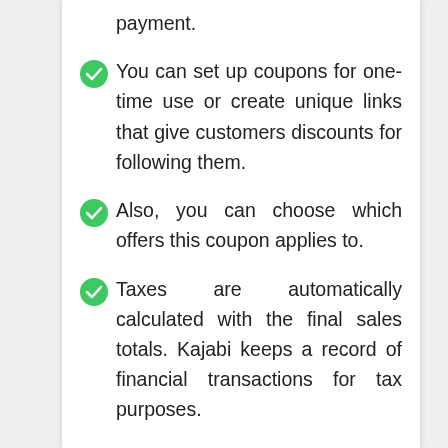payment.
You can set up coupons for one-time use or create unique links that give customers discounts for following them.
Also, you can choose which offers this coupon applies to.
Taxes are automatically calculated with the final sales totals. Kajabi keeps a record of financial transactions for tax purposes.